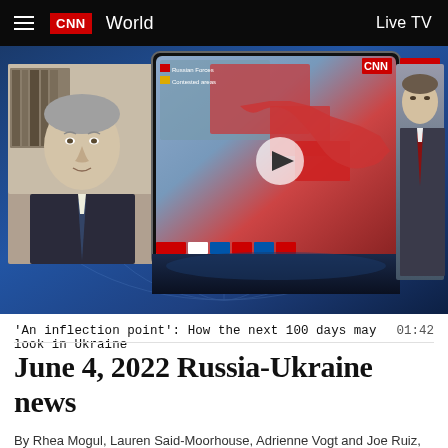CNN  World  Live TV
[Figure (screenshot): CNN video thumbnail showing a split screen: left side has a man in a dark blazer and tie on a video call, center shows a CNN studio anchor standing next to a large screen displaying a map of Ukraine with red areas indicating Russian-controlled territory, right side shows the CNN studio with the anchor in a gray suit and red tie. The background has a blue world map graphic.]
'An inflection point': How the next 100 days may look in Ukraine  01:42
June 4, 2022 Russia-Ukraine news
By Rhea Mogul, Lauren Said-Moorhouse, Adrienne Vogt and Joe Ruiz, CNN